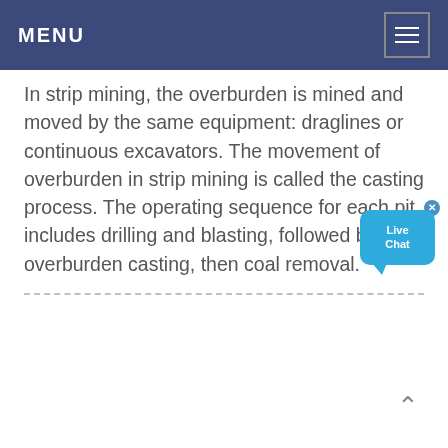MENU
In strip mining, the overburden is mined and moved by the same equipment: draglines or continuous excavators. The movement of overburden in strip mining is called the casting process. The operating sequence for each pit includes drilling and blasting, followed by overburden casting, then coal removal.